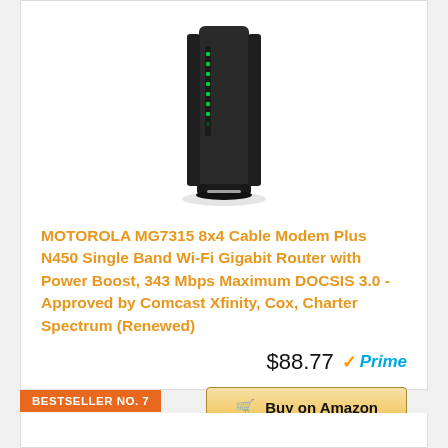[Figure (photo): Motorola MG7315 cable modem/router device, a tall black vertical unit with green LED indicator lights on the side]
MOTOROLA MG7315 8x4 Cable Modem Plus N450 Single Band Wi-Fi Gigabit Router with Power Boost, 343 Mbps Maximum DOCSIS 3.0 - Approved by Comcast Xfinity, Cox, Charter Spectrum (Renewed)
$88.77
Buy on Amazon
BESTSELLER NO. 7